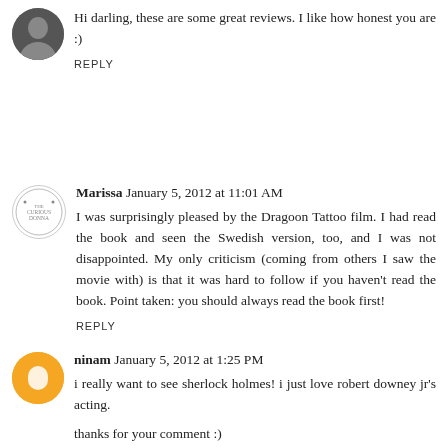Hi darling, these are some great reviews. I like how honest you are :)
REPLY
Marissa  January 5, 2012 at 11:01 AM
I was surprisingly pleased by the Dragoon Tattoo film. I had read the book and seen the Swedish version, too, and I was not disappointed. My only criticism (coming from others I saw the movie with) is that it was hard to follow if you haven't read the book. Point taken: you should always read the book first!
REPLY
ninam  January 5, 2012 at 1:25 PM
i really want to see sherlock holmes! i just love robert downey jr's acting.
thanks for your comment :)